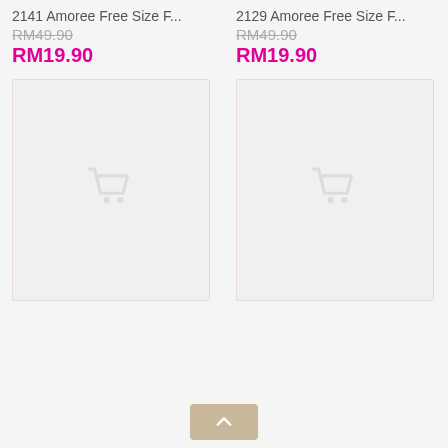2141 Amoree Free Size F...
RM49.90 (original price, strikethrough)
RM19.90 (sale price)
[Figure (other): Product image placeholder with shopping cart icon, left column]
2129 Amoree Free Size F...
RM49.90 (original price, strikethrough)
RM19.90 (sale price)
[Figure (other): Product image placeholder with shopping cart icon, right column]
[Figure (other): Back to top button with upward arrow]